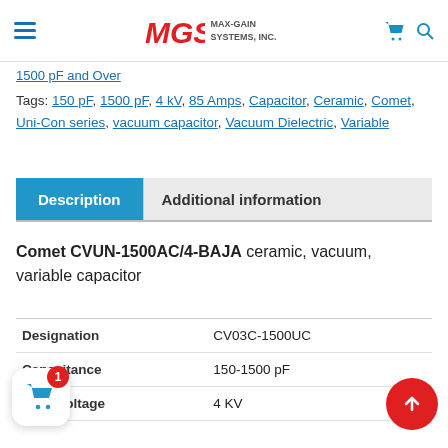MGS MAX-GAIN SYSTEMS, INC.
1500 pF and Over
Tags: 150 pF, 1500 pF, 4 kV, 85 Amps, Capacitor, Ceramic, Comet, Uni-Con series, vacuum capacitor, Vacuum Dielectric, Variable
Description | Additional information
Comet CVUN-1500AC/4-BAJA ceramic, vacuum, variable capacitor
|  |  |
| --- | --- |
| Designation | CV03C-1500UC |
| Capacitance | 150-1500 pF |
| Peak Voltage | 4 KV |